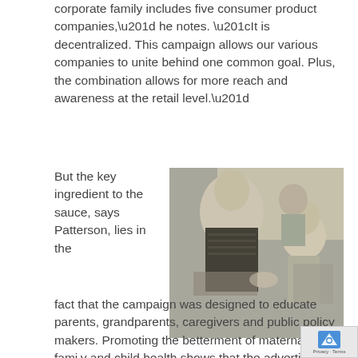corporate family includes five consumer product companies,” he notes. “It is decentralized. This campaign allows our various companies to unite behind one common goal. Plus, the combination allows for more reach and awareness at the retail level.”
[Figure (photo): An elderly woman and a young toddler sitting face-to-face, appearing to interact warmly. Other elderly people are visible in the background.]
But the key ingredient to the sauce, says Patterson, lies in the fact that the campaign was designed to educate parents, grandparents, caregivers and public policy makers. Promoting the betterment of maternal, family and child health shows that the advertiser cares about its consumers. Johnson & Johnson has proven that